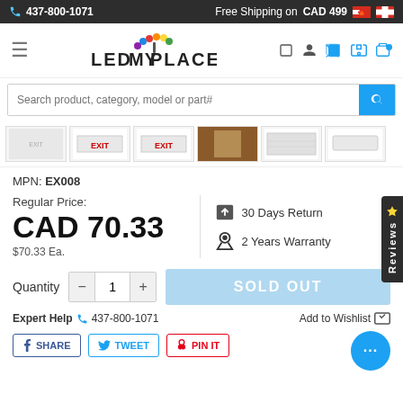437-800-1071 | Free Shipping on CAD 499
[Figure (logo): LEDMyPlace logo with colorful leaf icon and navigation icons]
Search product, category, model or part#
[Figure (photo): Product thumbnail strip showing exit signs and LED panels]
MPN: EX008
Regular Price: CAD 70.33 | $70.33 Ea.
30 Days Return | 2 Years Warranty
Quantity 1 | SOLD OUT
Expert Help 437-800-1071 | Add to Wishlist
SHARE | TWEET | PIN IT